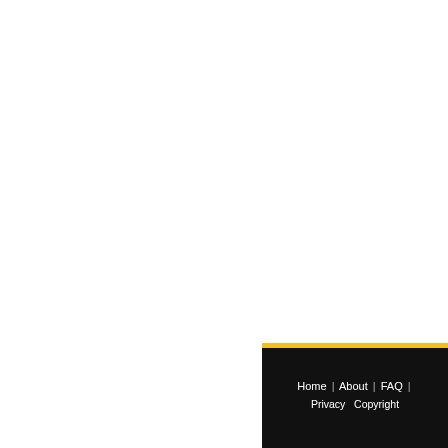second weeks in a transition as in adjacent sub-epicardial tissue however did not persist injured area during repair. The ventricle by myocardial tissue deoxyuridinepositive cardiac myocytes during repair suggest mechanisms also operate in observed in zebrafish and gi regeneration may be widely
Recommended Citation
Grivas, Jamie, Maria Haag, Ade Evelyn Brown, Alan R. Burns, P potential in the goldfish (Caras Physiology C. http://dx.doi.org
Home | About | FAQ | Privacy Copyright